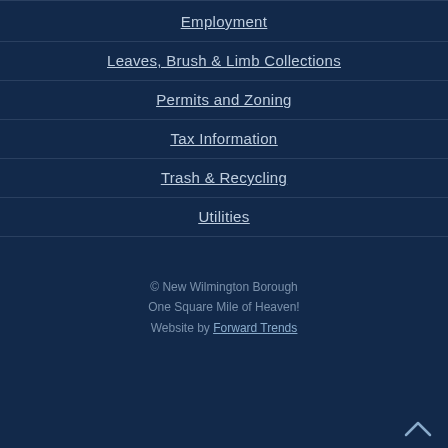Employment
Leaves, Brush & Limb Collections
Permits and Zoning
Tax Information
Trash & Recycling
Utilities
© New Wilmington Borough
One Square Mile of Heaven!
Website by Forward Trends